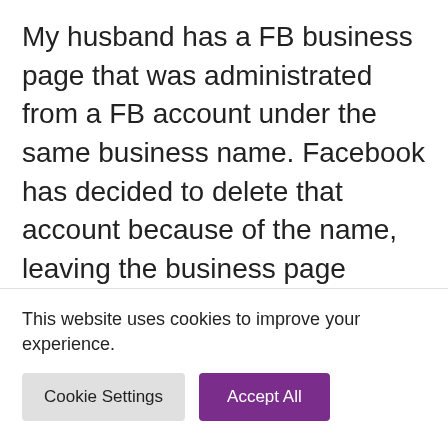My husband has a FB business page that was administrated from a FB account under the same business name. Facebook has decided to delete that account because of the name, leaving the business page without an admin. He has tried to reclaim this FB account under his real name – including submitting ID proof and ownership to FB (he has
This website uses cookies to improve your experience.